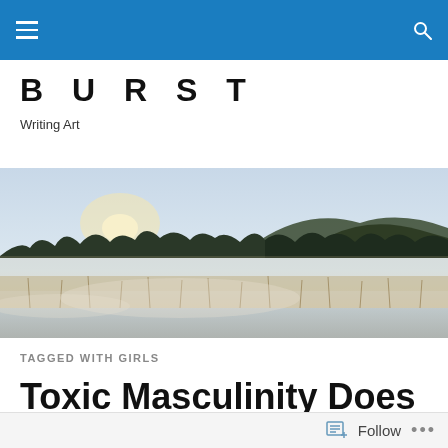BURST — Writing Art (navigation bar)
BURST
Writing Art
[Figure (photo): Misty landscape with a lake in the foreground, tall grasses, a treeline of evergreens in the middle ground, and rolling hills under a cloudy sky with soft morning light.]
TAGGED WITH GIRLS
Toxic Masculinity Does Not Exist. Part 452
Follow